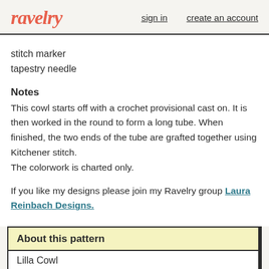ravelry | sign in | create an account
stitch marker
tapestry needle
Notes
This cowl starts off with a crochet provisional cast on. It is then worked in the round to form a long tube. When finished, the two ends of the tube are grafted together using Kitchener stitch.
The colorwork is charted only.
If you like my designs please join my Ravelry group Laura Reinbach Designs.
About this pattern
Lilla Cowl